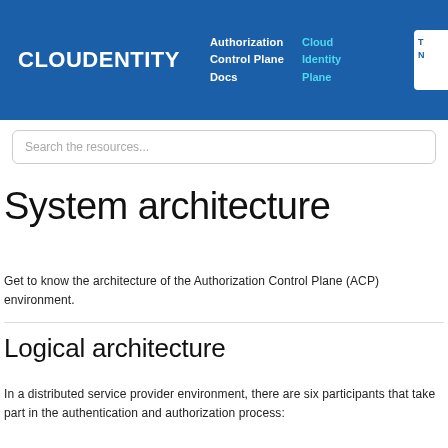CLOUDENTITY | Authorization Control Plane Docs | Cloud Identity Plane
Search the resources...
System architecture
Get to know the architecture of the Authorization Control Plane (ACP) environment.
Logical architecture
In a distributed service provider environment, there are six participants that take part in the authentication and authorization process: